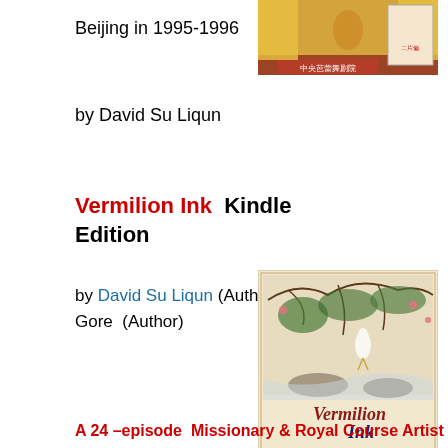Beijing in 1995-1996
[Figure (photo): Book cover image with Chinese text, showing performers in traditional costumes]
by David Su Liqun
Vermilion Ink  Kindle Edition
by David Su Liqun (Author), Diana Gore  (Author)
[Figure (photo): Book cover of Vermilion Ink showing a white bird (egret) perched among branches with Chinese-style painting, authored by David Su Liqun and Diana Gore]
A 24 –episode  Missionary & Royal Course Artist